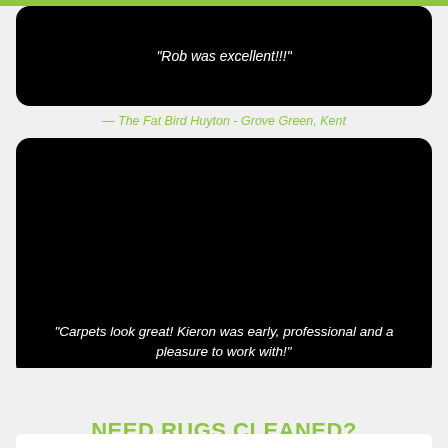“Rob was excellent!!!”
— The Fat Bird Huyton - Grove Green, Kent
“Carpets look great! Kieron was early, professional and a pleasure to work with!”
— Christine Tucker - Grove Green, Kent
NEED RUGS CLEANED?